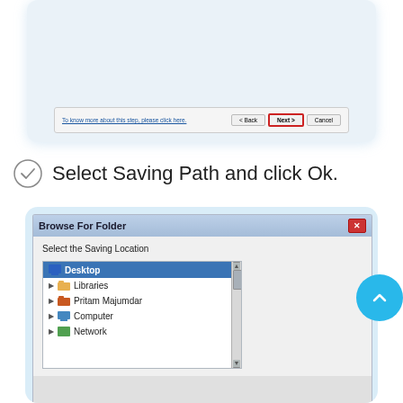[Figure (screenshot): Top portion of a Windows installation dialog showing Back, Next, and Cancel buttons at the bottom, with Next button highlighted in red border. A link reads 'To know more about this step, please click here.']
Select Saving Path and click Ok.
[Figure (screenshot): Windows 'Browse For Folder' dialog showing 'Select the Saving Location' prompt with a folder tree listing Desktop (selected/highlighted), Libraries, Pritam Majumdar, Computer, and Network entries with expand arrows. Scrollbar visible on the right.]